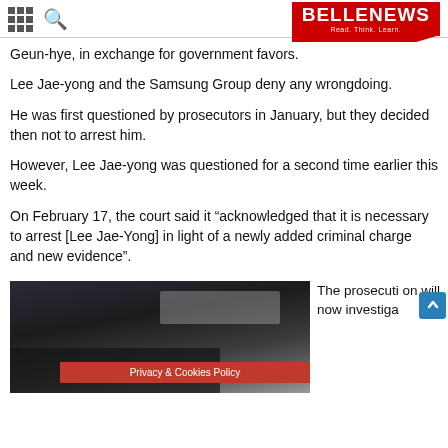BELLENEWS - Read. Think. Learn.
Geun-hye, in exchange for government favors.
Lee Jae-yong and the Samsung Group deny any wrongdoing.
He was first questioned by prosecutors in January, but they decided then not to arrest him.
However, Lee Jae-yong was questioned for a second time earlier this week.
On February 17, the court said it “acknowledged that it is necessary to arrest [Lee Jae-Yong] in light of a newly added criminal charge and new evidence”.
[Figure (photo): Close-up photo of a person in a dark suit and tie, face partially visible at bottom]
The prosecution will now investiga